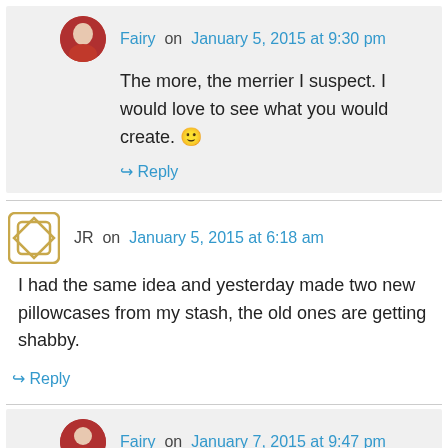Fairy on January 5, 2015 at 9:30 pm
The more, the merrier I suspect. I would love to see what you would create. 🙂
↳ Reply
JR on January 5, 2015 at 6:18 am
I had the same idea and yesterday made two new pillowcases from my stash, the old ones are getting shabby.
↳ Reply
Fairy on January 7, 2015 at 9:47 pm